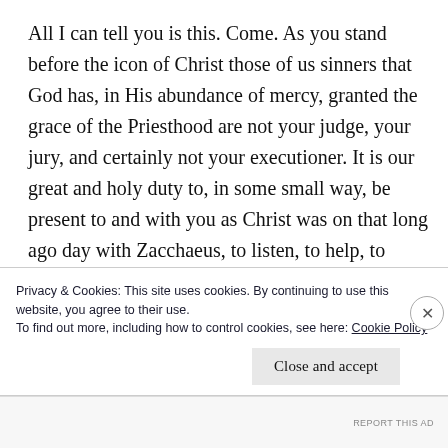All I can tell you is this. Come. As you stand before the icon of Christ those of us sinners that God has, in His abundance of mercy, granted the grace of the Priesthood are not your judge, your jury, and certainly not your executioner. It is our great and holy duty to, in some small way, be present to and with you as Christ was on that long ago day with Zacchaeus, to listen, to help, to point the way as best we can, and assure you, not because of our
Privacy & Cookies: This site uses cookies. By continuing to use this website, you agree to their use.
To find out more, including how to control cookies, see here: Cookie Policy
Close and accept